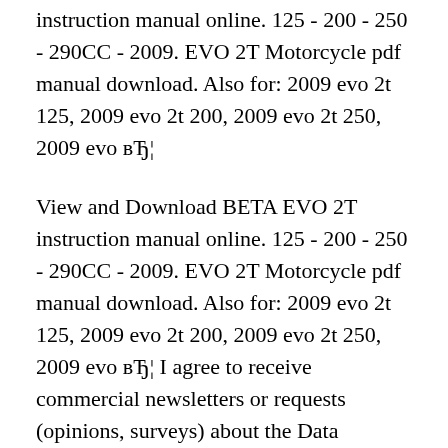instruction manual online. 125 - 200 - 250 - 290CC - 2009. EVO 2T Motorcycle pdf manual download. Also for: 2009 evo 2t 125, 2009 evo 2t 200, 2009 evo 2t 250, 2009 evo вЂ¦
View and Download BETA EVO 2T instruction manual online. 125 - 200 - 250 - 290CC - 2009. EVO 2T Motorcycle pdf manual download. Also for: 2009 evo 2t 125, 2009 evo 2t 200, 2009 evo 2t 250, 2009 evo вЂ¦ I agree to receive commercial newsletters or requests (opinions, surveys) about the Data ControllerвЂ™s products and services I already have or similar to those I have already used, 2. For direct marketing activities, including information on the Data ControllerвЂ™s products or services sent by email, unless I refuse consent and / or